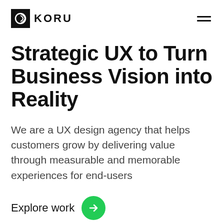KORU
Strategic UX to Turn Business Vision into Reality
We are a UX design agency that helps customers grow by delivering value through measurable and memorable experiences for end-users
Explore work →